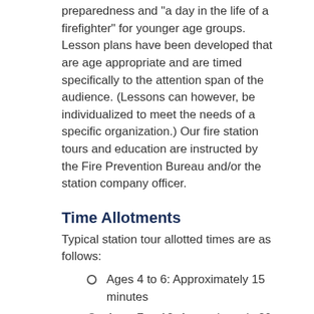preparedness and "a day in the life of a firefighter" for younger age groups. Lesson plans have been developed that are age appropriate and are timed specifically to the attention span of the audience. (Lessons can however, be individualized to meet the needs of a specific organization.) Our fire station tours and education are instructed by the Fire Prevention Bureau and/or the station company officer.
Time Allotments
Typical station tour allotted times are as follows:
Ages 4 to 6: Approximately 15 minutes
Ages 7 to 12: Approximately 20 to 30 minutes
Ages 13 and up: Approximately 30 minutes
Younger age groups are also provided with education resources such as coloring books, sticker badges, and